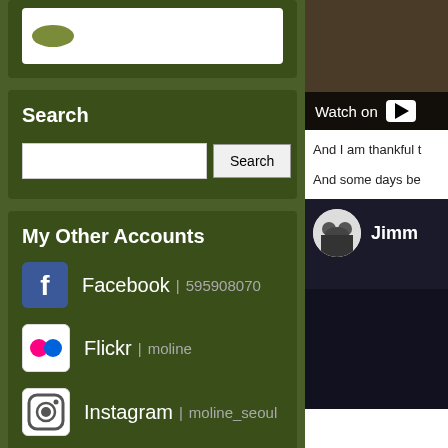[Figure (screenshot): Partial top card with white box containing green oval shape]
Search
[Figure (screenshot): Search input field and Search button]
My Other Accounts
Facebook | 595908070
Flickr | moline
Instagram | moline_seoul
Pinterest | moline
Tumblr | moline.tumblr.com
Recent Comments
[Figure (screenshot): YouTube video player showing Watch on button with play icon]
And I am thankful t
And some days be
[Figure (screenshot): Video thumbnail with avatar circle and Jimm text label on dark background]